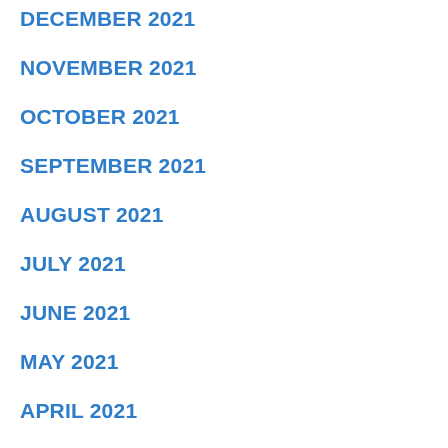DECEMBER 2021
NOVEMBER 2021
OCTOBER 2021
SEPTEMBER 2021
AUGUST 2021
JULY 2021
JUNE 2021
MAY 2021
APRIL 2021